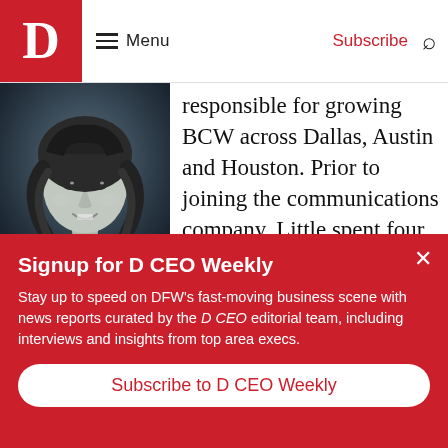D | Menu | Subscribe
[Figure (photo): Black and white portrait of Jennifer Little, a woman with curly hair, smiling.]
Jennifer Little
responsible for growing BCW across Dallas, Austin and Houston. Prior to joining the communications company, Little spent four years with MikeWorldWide, most recently as senior vice
Signup for D CEO Weekly
Stay up to speed on DFW's fast-moving business scene with news reports curated by the D CEO editorial team, including interviews and insights from top area execs.
Subscribe to D CEO Weekly